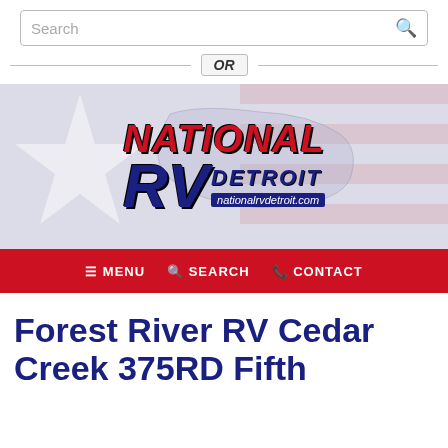[Figure (screenshot): Search bar with placeholder text 'Search' and a magnifying glass icon on the right]
OR
[Figure (logo): National RV Detroit logo with US map silhouette in red/white/blue, text 'NATIONAL RV DETROIT' and 'nationalrvdetroit.com']
☰ MENU   🔍 SEARCH   📞 CONTACT
Forest River RV Cedar Creek 375RD Fifth